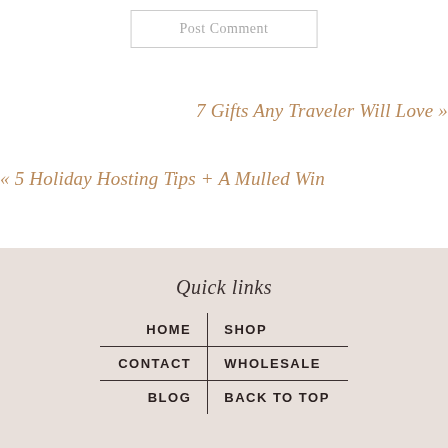Post Comment
7 Gifts Any Traveler Will Love »
« 5 Holiday Hosting Tips + A Mulled Win
Quick links
| HOME | SHOP |
| CONTACT | WHOLESALE |
| BLOG | BACK TO TOP |